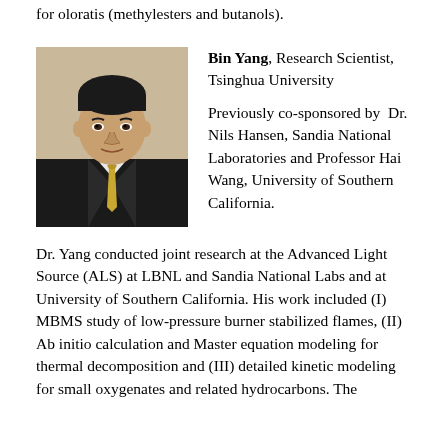for oloratis (methylesters and butanols).
[Figure (photo): Headshot photo of Bin Yang, an Asian man in a dark suit with a yellow tie, against a light background.]
Bin Yang, Research Scientist, Tsinghua University

Previously co-sponsored by Dr. Nils Hansen, Sandia National Laboratories and Professor Hai Wang, University of Southern California.
Dr. Yang conducted joint research at the Advanced Light Source (ALS) at LBNL and Sandia National Labs and at University of Southern California. His work included (I) MBMS study of low-pressure burner stabilized flames, (II) Ab initio calculation and Master equation modeling for thermal decomposition and (III) detailed kinetic modeling for small oxygenates and related hydrocarbons. The